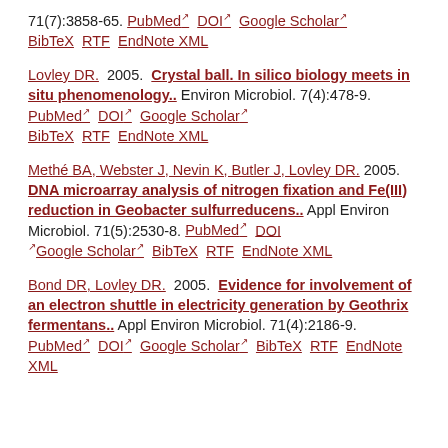71(7):3858-65. PubMed DOI Google Scholar BibTeX RTF EndNote XML
Lovley DR. 2005. Crystal ball. In silico biology meets in situ phenomenology.. Environ Microbiol. 7(4):478-9. PubMed DOI Google Scholar BibTeX RTF EndNote XML
Methé BA, Webster J, Nevin K, Butler J, Lovley DR. 2005. DNA microarray analysis of nitrogen fixation and Fe(III) reduction in Geobacter sulfurreducens.. Appl Environ Microbiol. 71(5):2530-8. PubMed DOI Google Scholar BibTeX RTF EndNote XML
Bond DR, Lovley DR. 2005. Evidence for involvement of an electron shuttle in electricity generation by Geothrix fermentans.. Appl Environ Microbiol. 71(4):2186-9. PubMed DOI Google Scholar BibTeX RTF EndNote XML